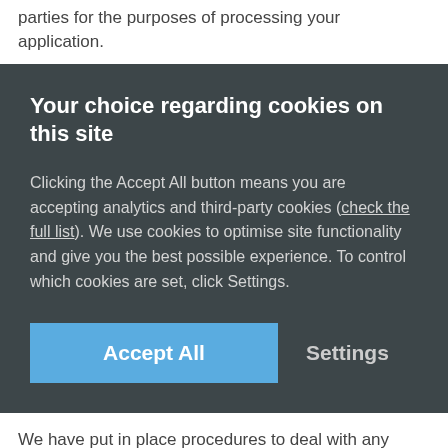parties for the purposes of processing your application.
Your choice regarding cookies on this site
Clicking the Accept All button means you are accepting analytics and third-party cookies (check the full list). We use cookies to optimise site functionality and give you the best possible experience. To control which cookies are set, click Settings.
Accept All
Settings
We have put in place procedures to deal with any suspected data security breach and will notify you and any